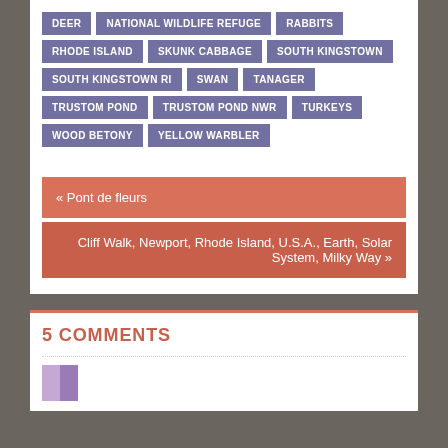DEER
NATIONAL WILDLIFE REFUGE
RABBITS
RHODE ISLAND
SKUNK CABBAGE
SOUTH KINGSTOWN
SOUTH KINGSTOWN RI
SWAN
TANAGER
TRUSTOM POND
TRUSTOM POND NWR
TURKEYS
WOOD BETONY
YELLOW WARBLER
« Pont de fleurs
Cliff Walk, Newport, Rhode Island, U.S.A., Earth, Solar System, Milky Way »
5 COMMENTS